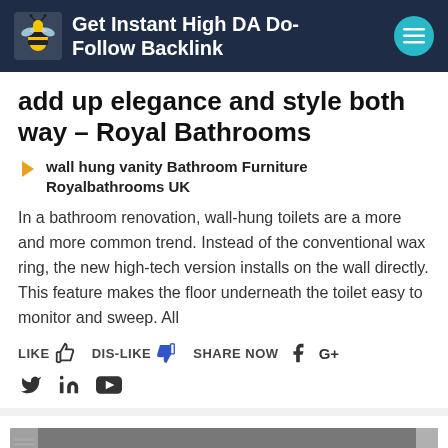Get Instant High DA Do-Follow Backlink
add up elegance and style both way – Royal Bathrooms
wall hung vanity Bathroom Furniture Royalbathrooms UK
In a bathroom renovation, wall-hung toilets are a more and more common trend. Instead of the conventional wax ring, the new high-tech version installs on the wall directly. This feature makes the floor underneath the toilet easy to monitor and sweep. All
LIKE  DIS-LIKE  SHARE NOW  f  G+  (twitter) (linkedin) (youtube)
[Figure (photo): A gray bathroom cabinet or drawer unit with a horizontal bar handle, partially visible against a textured wall background.]